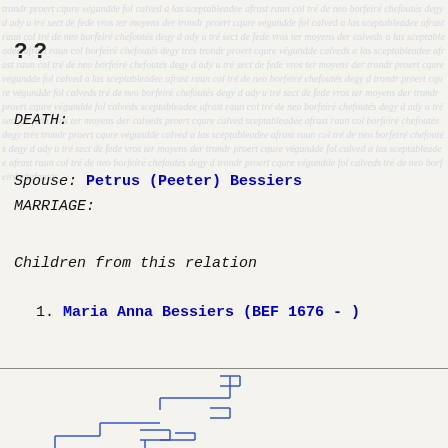? ?
DEATH:
Spouse: Petrus (Peeter) Bessiers
MARRIAGE:
Children from this relation
1. Maria Anna Bessiers (BEF 1676 - )
[Figure (organizational-chart): Partial genealogical family tree diagram drawn in blue lines showing branching ancestor/descendant relationships]